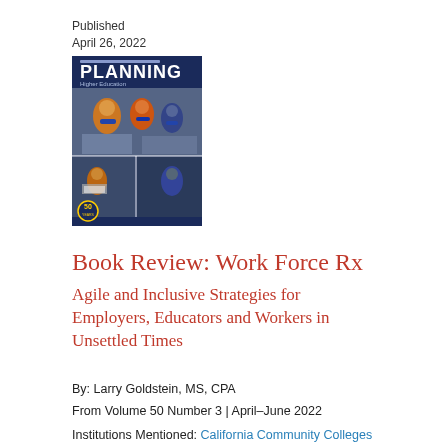Published
April 26, 2022
[Figure (photo): Cover of Planning for Higher Education journal, Volume 50 Number 3, featuring masked people at an event, with '50' anniversary logo in bottom left corner. Dark blue background with 'PLANNING Higher Education' title text in white.]
Book Review: Work Force Rx
Agile and Inclusive Strategies for Employers, Educators and Workers in Unsettled Times
By: Larry Goldstein, MS, CPA
From Volume 50 Number 3 | April–June 2022
Institutions Mentioned: California Community Colleges